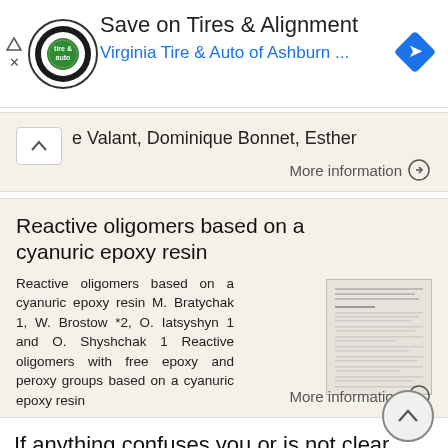[Figure (screenshot): Advertisement banner for Virginia Tire & Auto of Ashburn with logo, heading 'Save on Tires & Alignment', subheading 'Virginia Tire & Auto of Ashburn ...', and a blue direction diamond icon. Side arrows for navigation.]
e Valant, Dominique Bonnet, Esther
More information →
Reactive oligomers based on a cyanuric epoxy resin
Reactive oligomers based on a cyanuric epoxy resin M. Bratychak 1, W. Brostow *2, O. Iatsyshyn 1 and O. Shyshchak 1 Reactive oligomers with free epoxy and peroxy groups based on a cyanuric epoxy resin
[Figure (screenshot): Thumbnail image of the article document page]
More information →
If anything confuses you or is not clear,